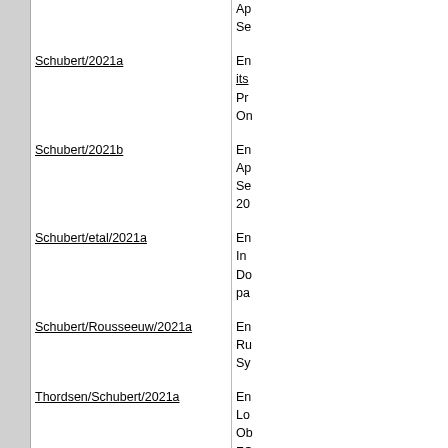Ap
Se
Schubert/2021a
En
its
Pr
On
Schubert/2021b
En
Ap
Se
20
Schubert/etal/2021a
En
In
Do
pa
Schubert/Rousseeuw/2021a
En
Ru
Sy
Thordsen/Schubert/2021a
En
Lo
Ob
FO
CB
Thordsen/Schubert/2021b
En
Sa